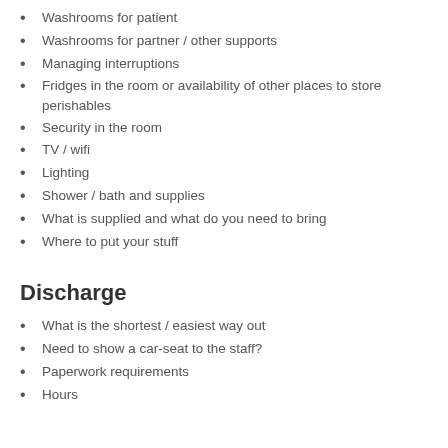Washrooms for patient
Washrooms for partner / other supports
Managing interruptions
Fridges in the room or availability of other places to store perishables
Security in the room
TV / wifi
Lighting
Shower / bath and supplies
What is supplied and what do you need to bring
Where to put your stuff
Discharge
What is the shortest / easiest way out
Need to show a car-seat to the staff?
Paperwork requirements
Hours